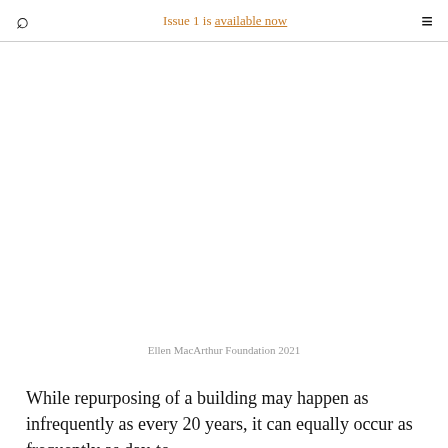Issue 1 is available now
Ellen MacArthur Foundation 2021
While repurposing of a building may happen as infrequently as every 20 years, it can equally occur as frequently as day-to-day. The challenge a traditional office represents for long…